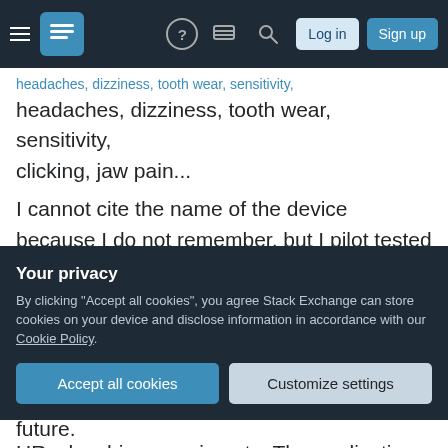Stack Exchange navigation bar with hamburger menu, logo, help, chat, search icons, Log in and Sign up buttons
headaches, dizziness, tooth wear, sensitivity, clicking, jaw pain...
I cannot cite the name of the device because I do not remember, but I pilot tested a nighttime monitoring device that monitored the amplitude of muscle contraction of the masseter (jaw clenching muscle) as well as body position, movements, pulse, O2 saturations, and noise (snoring). The goal was to correlate hypoxia with positioning, HR, clenching, snoring etc. The application of the
Your privacy
By clicking "Accept all cookies", you agree Stack Exchange can store cookies on your device and disclose information in accordance with our Cookie Policy.
Accept all cookies    Customize settings
future.